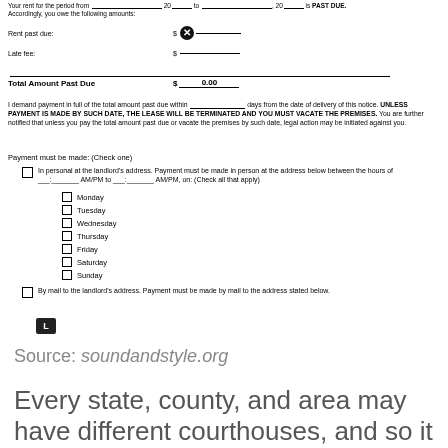Your rent for the period from __________, 20___ to __________, 20___ is PAST DUE. Accordingly, you owe the following amounts:
Rent past due: $[X] ___
Late fee: $___
Total Amount Past Due $__0.00__
I demand payment in full of the total amount past due within __________ days from the date of delivery of this notice. UNLESS PAYMENT IS MADE BY SUCH DATE, THE LEASE WILL BE TERMINATED AND YOU MUST VACATE THE PREMISES. You are further notified that unless you pay the total amount past due or vacate the premises by such date, legal action may be initiated against you.
Payment must be made: (Check one)
In personal at the landlord's address. Payment must be made in person at the address below between the hours of ___:_______ AM/PM to ___:_______ AM/PM, on: (Check all that apply)
Monday
Tuesday
Wednesday
Thursday
Friday
Saturday
Sunday
By mail to the landlord's address. Payment must be made by mail to the address stated below.
[Figure (logo): Small dark logo icon]
Source: soundandstyle.org
Every state, county, and area may have different courthouses, and so it may [X] seem impossible to find